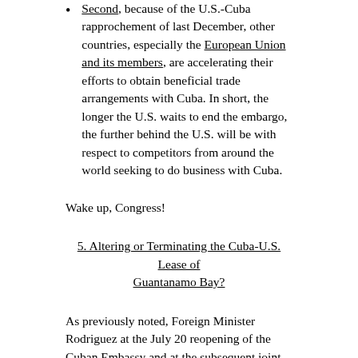Second, because of the U.S.-Cuba rapprochement of last December, other countries, especially the European Union and its members, are accelerating their efforts to obtain beneficial trade arrangements with Cuba. In short, the longer the U.S. waits to end the embargo, the further behind the U.S. will be with respect to competitors from around the world seeking to do business with Cuba.
Wake up, Congress!
5. Altering or Terminating the Cuba-U.S. Lease of Guantanamo Bay?
As previously noted, Foreign Minister Rodriguez at the July 20 reopening of the Cuban Embassy and at the subsequent joint press conference with Secretary Kerry